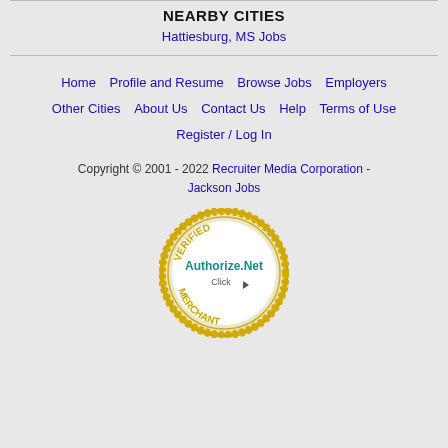NEARBY CITIES
Hattiesburg, MS Jobs
Home
Profile and Resume
Browse Jobs
Employers
Other Cities
About Us
Contact Us
Help
Terms of Use
Register / Log In
Copyright © 2001 - 2022 Recruiter Media Corporation - Jackson Jobs
[Figure (logo): Authorize.Net Verified Merchant badge - gold circular seal with VERIFIED at top, Authorize.Net in teal/blue in center, Click with arrow, MERCHANT at bottom]